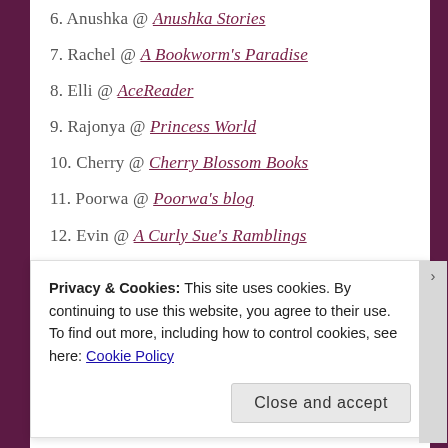6. Anushka @ Anushka Stories
7. Rachel @ A Bookworm's Paradise
8. Elli @ AceReader
9. Rajonya @ Princess World
10. Cherry @ Cherry Blossom Books
11. Poorwa @ Poorwa's blog
12. Evin @ A Curly Sue's Ramblings
13. Lucy @ Bookworm Blogger
14. Abby @ Beyond The Read
15. Zainab @ Zainab Chats
16. Aamy @ Aamy's Imaginations
Privacy & Cookies: This site uses cookies. By continuing to use this website, you agree to their use. To find out more, including how to control cookies, see here: Cookie Policy